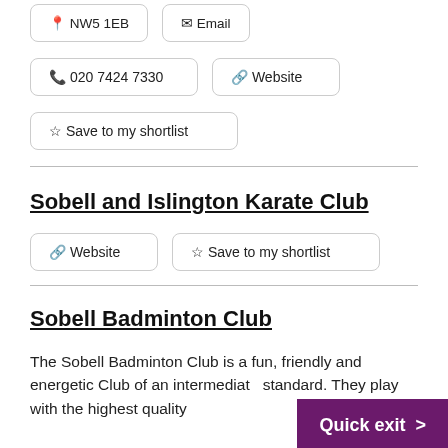📍 NW5 1EB   ✉ Email
📞 020 7424 7330   🔗 Website
☆ Save to my shortlist
Sobell and Islington Karate Club
🔗 Website   ☆ Save to my shortlist
Sobell Badminton Club
The Sobell Badminton Club is a fun, friendly and energetic Club of an intermediate standard. They play with the highest quality
Quick exit >